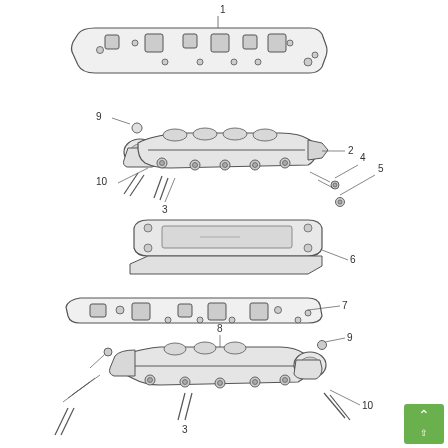[Figure (engineering-diagram): Exploded view engineering diagram of an exhaust manifold assembly showing numbered components: 1 - top gasket (flat plate with holes), 2 - exhaust manifold body (upper), 3 - bolts/studs, 4 - small bolts/fasteners, 5 - bolt, 6 - middle spacer/plate assembly, 7 - lower gasket (flat plate with holes), 8 - bolt/stud, 9 - mounting brackets/clips (appears twice for upper and lower manifolds), 10 - bolts (appears twice). The diagram shows two sets of manifold assemblies stacked vertically with callout lines and reference numbers.]